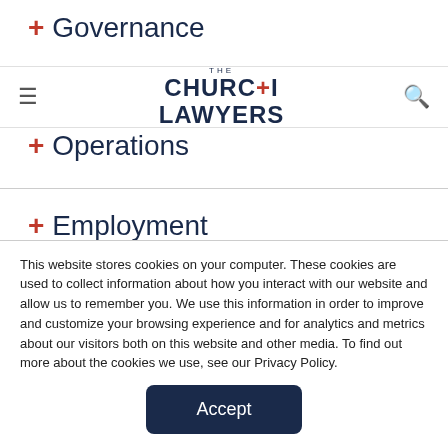+ Governance
[Figure (screenshot): The Church Lawyers logo with navigation bar showing hamburger menu and search icon]
+ Operations
+ Employment
+ Property
This website stores cookies on your computer. These cookies are used to collect information about how you interact with our website and allow us to remember you. We use this information in order to improve and customize your browsing experience and for analytics and metrics about our visitors both on this website and other media. To find out more about the cookies we use, see our Privacy Policy.
Accept